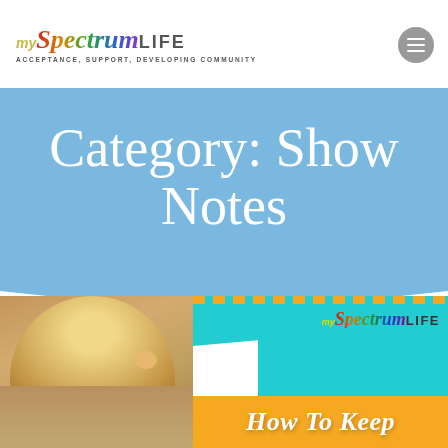MY SpectrumLIFE ACCEPTANCE, SUPPORT, DEVELOPING COMMUNITY
Category: Show Notes
[Figure (photo): A split image: left side shows a young child with light blond hair against a blurred background; right side shows the MySpectrumLife logo on a teal/cyan background with stylized text reading 'How To Keep' in large yellow/gold letters at the bottom.]